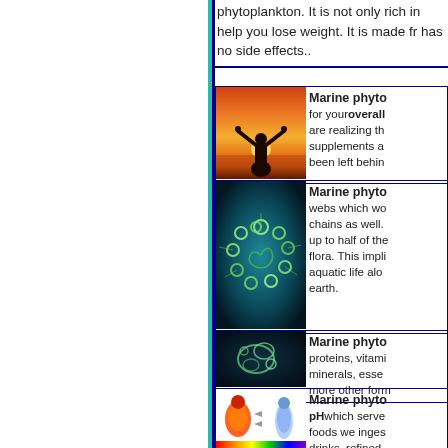phytoplankton. It is not only rich in... help you lose weight. It is made fr... has no side effects..
[Figure (photo): Silhouette of person with arms raised at sunset on beach]
Marine phyto... for your overall... are realizing th... supplements a... been left behin...
[Figure (photo): Microscope image of marine phytoplankton cells in circular arrangement on teal background]
Marine phyto... webs which wo... chains as well. up to half of the... flora. This impli... aquatic life alo... earth.
[Figure (photo): Microscope image of marine phytoplankton cluster on dark background]
Marine phyto... proteins, vitami... minerals, esse... more other form...
[Figure (infographic): Body pH diagram showing overweight/acidic body in red-orange color transforming to healthy/alkaline body in blue, with rainbow pH scale below]
Marine phyto... pH which serve... foods we inges... drinks, refined... tinned animal...